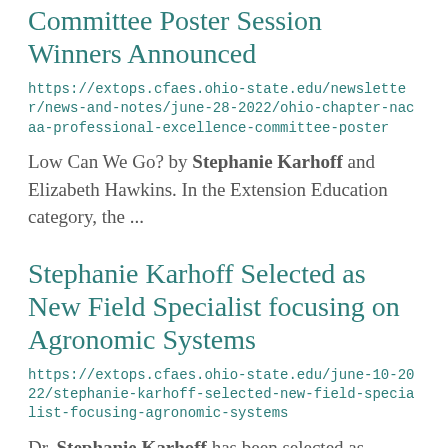Committee Poster Session Winners Announced
https://extops.cfaes.ohio-state.edu/newsletter/news-and-notes/june-28-2022/ohio-chapter-nacaa-professional-excellence-committee-poster
Low Can We Go? by Stephanie Karhoff and Elizabeth Hawkins. In the Extension Education category, the ...
Stephanie Karhoff Selected as New Field Specialist focusing on Agronomic Systems
https://extops.cfaes.ohio-state.edu/june-10-2022/stephanie-karhoff-selected-new-field-specialist-focusing-agronomic-systems
Dr. Stephanie Karhoff has been selected as